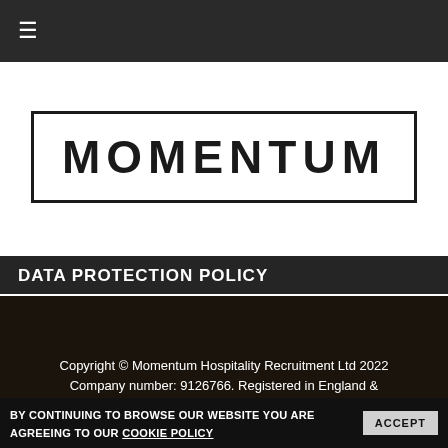≡
[Figure (logo): Momentum logo — word MOMENTUM in bold uppercase letters inside a rectangular border]
DATA PROTECTION POLICY
Copyright © Momentum Hospitality Recruitment Ltd 2022
Company number: 9126766. Registered in England & Wales at: 27 Old Gloucester Street, London, WC1N 3AX
BY CONTINUING TO BROWSE OUR WEBSITE YOU ARE AGREEING TO OUR COOKIE POLICY  ACCEPT